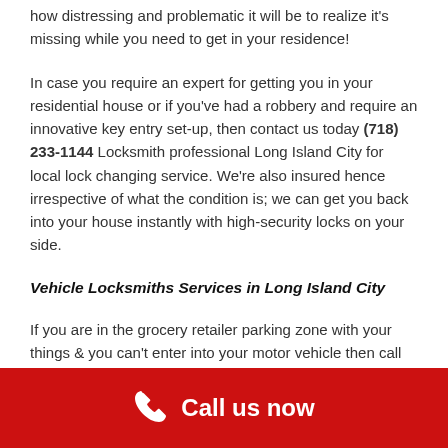how distressing and problematic it will be to realize it's missing while you need to get in your residence!
In case you require an expert for getting you in your residential house or if you've had a robbery and require an innovative key entry set-up, then contact us today (718) 233-1144 Locksmith professional Long Island City for local lock changing service. We're also insured hence irrespective of what the condition is; we can get you back into your house instantly with high-security locks on your side.
Vehicle Locksmiths Services in Long Island City
If you are in the grocery retailer parking zone with your things & you can't enter into your motor vehicle then call us for getting back into the vehicle within a quarter of an hour. If you
Call us now